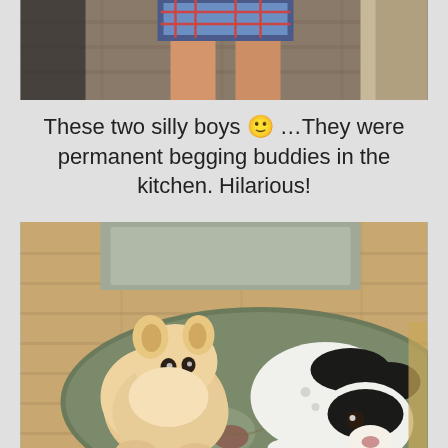[Figure (photo): Partial photo at top of page showing a person's legs in plaid shorts standing on a wooden floor, cropped to show only the lower body]
These two silly boys 🙂 …They were permanent begging buddies in the kitchen. Hilarious!
[Figure (photo): Photo of two dogs sitting on a decorative rug on a hardwood floor: a fluffy cream-colored Pomeranian on the left and a white and black Jack Russell Terrier on the right]